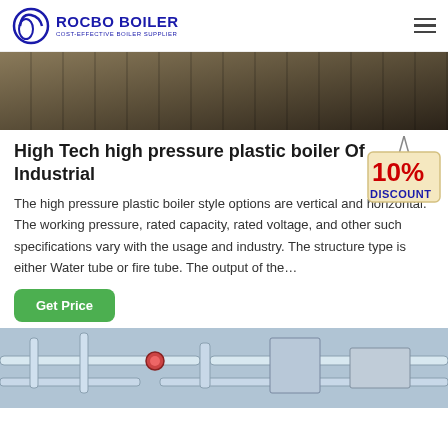ROCBO BOILER | COST-EFFECTIVE BOILER SUPPLIER
[Figure (photo): Industrial boiler or factory interior photograph showing metal structures and beams, dark tones]
High Tech high pressure plastic boiler Of Industrial
[Figure (infographic): 10% DISCOUNT badge/sign hanging graphic]
The high pressure plastic boiler style options are vertical and horizontal. The working pressure, rated capacity, rated voltage, and other such specifications vary with the usage and industry. The structure type is either Water tube or fire tube. The output of the…
[Figure (photo): Industrial boiler system with pipes, valves and machinery in a manufacturing facility]